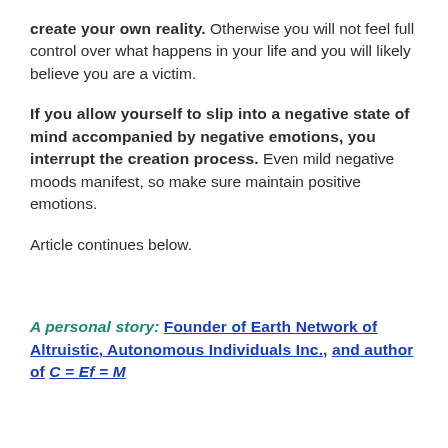create your own reality. Otherwise you will not feel full control over what happens in your life and you will likely believe you are a victim.
If you allow yourself to slip into a negative state of mind accompanied by negative emotions, you interrupt the creation process. Even mild negative moods manifest, so make sure maintain positive emotions.
Article continues below.
A personal story: Founder of Earth Network of Altruistic, Autonomous Individuals Inc., and author of C = Ef = M